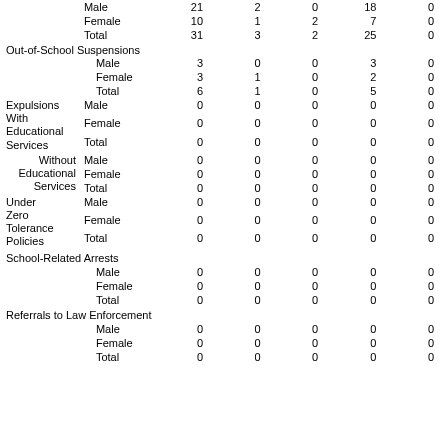| Category | Sub | Col1 | Col2 | Col3 | Col4 | Col5 |
| --- | --- | --- | --- | --- | --- | --- |
|  | Male | 21 | 2 | 0 | 18 | 0 |
|  | Female | 10 | 1 | 2 | 7 | 0 |
|  | Total | 31 | 3 | 2 | 25 | 0 |
| Out-of-School Suspensions |  |  |  |  |  |  |
|  | Male | 3 | 0 | 0 | 3 | 0 |
|  | Female | 3 | 1 | 0 | 2 | 0 |
|  | Total | 6 | 1 | 0 | 5 | 0 |
| Expulsions With Educational Services | Male | 0 | 0 | 0 | 0 | 0 |
|  | Female | 0 | 0 | 0 | 0 | 0 |
|  | Total | 0 | 0 | 0 | 0 | 0 |
| Without Educational Services | Male | 0 | 0 | 0 | 0 | 0 |
|  | Female | 0 | 0 | 0 | 0 | 0 |
|  | Total | 0 | 0 | 0 | 0 | 0 |
| Under Zero Tolerance Policies | Male | 0 | 0 | 0 | 0 | 0 |
|  | Female | 0 | 0 | 0 | 0 | 0 |
|  | Total | 0 | 0 | 0 | 0 | 0 |
| School-Related Arrests |  |  |  |  |  |  |
|  | Male | 0 | 0 | 0 | 0 | 0 |
|  | Female | 0 | 0 | 0 | 0 | 0 |
|  | Total | 0 | 0 | 0 | 0 | 0 |
| Referrals to Law Enforcement |  |  |  |  |  |  |
|  | Male | 0 | 0 | 0 | 0 | 0 |
|  | Female | 0 | 0 | 0 | 0 | 0 |
|  | Total | 0 | 0 | 0 | 0 | 0 |